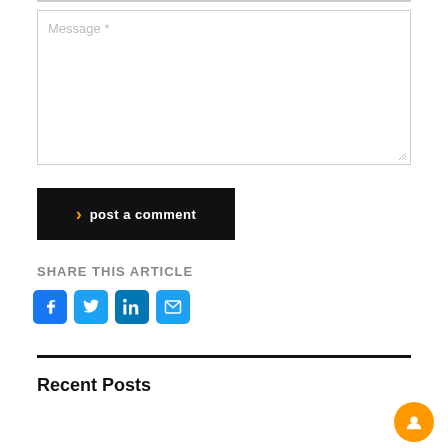Message *
post a comment
SHARE THIS ARTICLE
[Figure (infographic): Social share icons: Facebook, Twitter, LinkedIn, Email]
Recent Posts